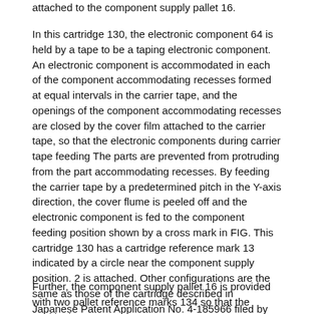attached to the component supply pallet 16.
In this cartridge 130, the electronic component 64 is held by a tape to be a taping electronic component. An electronic component is accommodated in each of the component accommodating recesses formed at equal intervals in the carrier tape, and the openings of the component accommodating recesses are closed by the cover film attached to the carrier tape, so that the electronic components during carrier tape feeding The parts are prevented from protruding from the part accommodating recesses. By feeding the carrier tape by a predetermined pitch in the Y-axis direction, the cover flume is peeled off and the electronic component is fed to the component feeding position shown by a cross mark in FIG. This cartridge 130 has a cartridge reference mark 13 indicated by a circle near the component supply position. 2 is attached. Other configurations are the same as those of the cartridge described in Japanese Patent Application No. 4-185966 filed by the present applicant, and detailed description thereof will be omitted.
Further, the component supply pallet 16 is provided with two pallet reference marks 134 so that the positioning